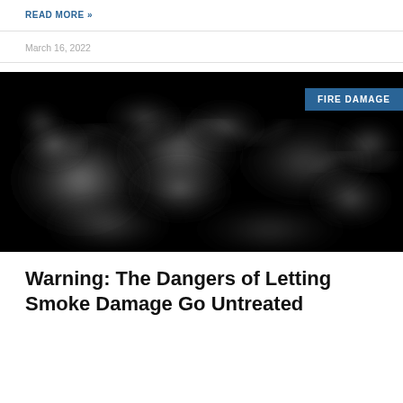READ MORE »
March 16, 2022
[Figure (photo): Smoke swirling against a black background with 'FIRE DAMAGE' badge in upper right corner]
Warning: The Dangers of Letting Smoke Damage Go Untreated